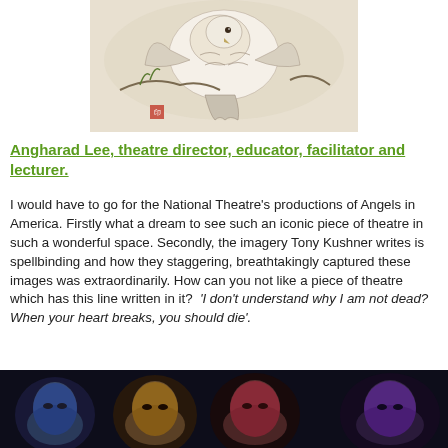[Figure (illustration): Chinese ink painting of an eagle or bird with foliage, light cream background with brushwork details]
Angharad Lee,  theatre director, educator, facilitator and lecturer.
I would have to go for the National Theatre's productions of Angels in America. Firstly what a dream to see such an iconic piece of theatre in such a wonderful space. Secondly, the imagery Tony Kushner writes is spellbinding and how they staggering, breathtakingly captured these images was extraordinarily. How can you not like a piece of theatre which has this line written in it?  'I don't understand why I am not dead? When your heart breaks, you should die'.
[Figure (photo): Four faces of actors lit in blue, yellow, red, and purple dramatic stage lighting against a dark background]